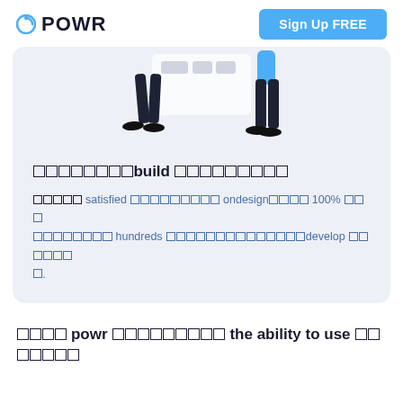POWR | Sign Up FREE
[Figure (illustration): Two illustrated figures (lower body only) standing on a light blue-grey background, with some UI element placeholders visible between them]
□□□□□□□□build □□□□□□□□□
□□□□□ satisfied □□□□□□□□□ ondesign□□□□ 100% □□□ □□□□□□□□ hundreds □□□□□□□□□□□□□□develop □□□□□□ □.
□□□□ powr □□□□□□□□□ the ability to use □□□□□□□